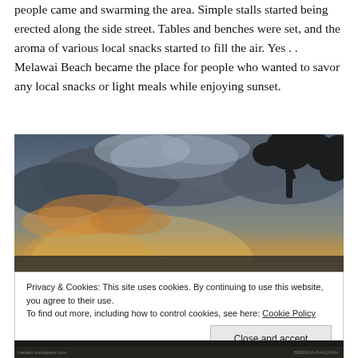people came and swarming the area. Simple stalls started being erected along the side street. Tables and benches were set, and the aroma of various local snacks started to fill the air. Yes . . Melawai Beach became the place for people who wanted to savor any local snacks or light meals while enjoying sunset.
[Figure (photo): Sunset sky with dramatic clouds and orange-yellow light breaking through, silhouette of tropical tree leaves in the upper right corner.]
Privacy & Cookies: This site uses cookies. By continuing to use this website, you agree to their use.
To find out more, including how to control cookies, see here: Cookie Policy
[Close and accept button]
[Figure (photo): Dark beach scene strip at the bottom of the page.]